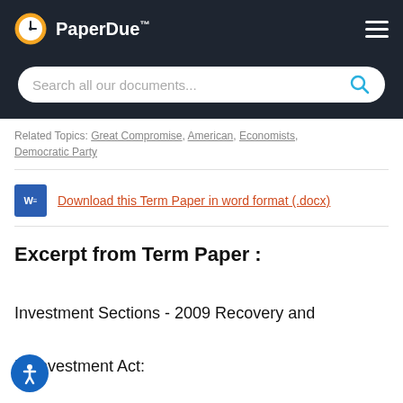PaperDue™
Related Topics: Great Compromise, American, Economists, Democratic Party
Download this Term Paper in word format (.docx)
Excerpt from Term Paper :
Investment Sections - 2009 Recovery and Reinvestment Act: